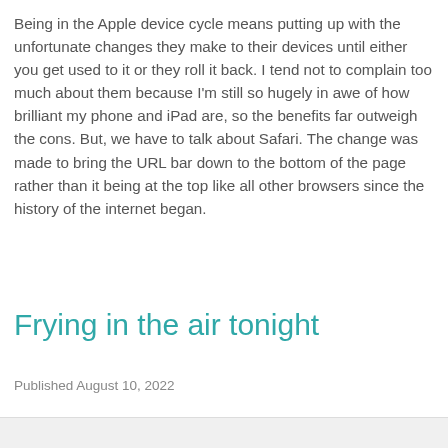Being in the Apple device cycle means putting up with the unfortunate changes they make to their devices until either you get used to it or they roll it back. I tend not to complain too much about them because I'm still so hugely in awe of how brilliant my phone and iPad are, so the benefits far outweigh the cons. But, we have to talk about Safari. The change was made to bring the URL bar down to the bottom of the page rather than it being at the top like all other browsers since the history of the internet began.
Frying in the air tonight
Published August 10, 2022